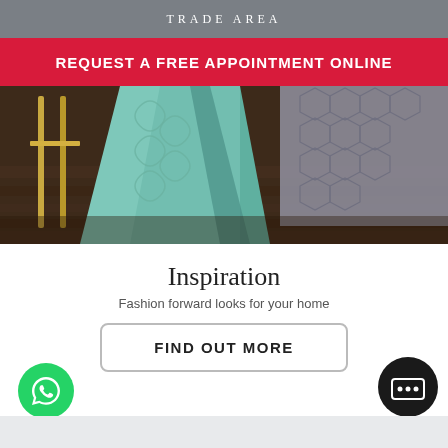TRADE AREA
REQUEST A FREE APPOINTMENT ONLINE
[Figure (photo): Decorative fabric drapes in teal/mint and grey hexagonal pattern displayed on dark hardwood floor with a gold metal side table]
Inspiration
Fashion forward looks for your home
FIND OUT MORE
[Figure (illustration): WhatsApp green circular button icon on the bottom left]
[Figure (illustration): Dark circular chat/messenger button icon on the bottom right]